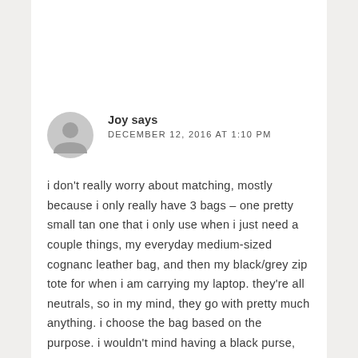Joy says
DECEMBER 12, 2016 AT 1:10 PM
i don't really worry about matching, mostly because i only really have 3 bags – one pretty small tan one that i only use when i just need a couple things, my everyday medium-sized cognanc leather bag, and then my black/grey zip tote for when i am carrying my laptop. they're all neutrals, so in my mind, they go with pretty much anything. i choose the bag based on the purpose. i wouldn't mind having a black purse, though, since my only black/grey bag is more of a tote.
REPLY